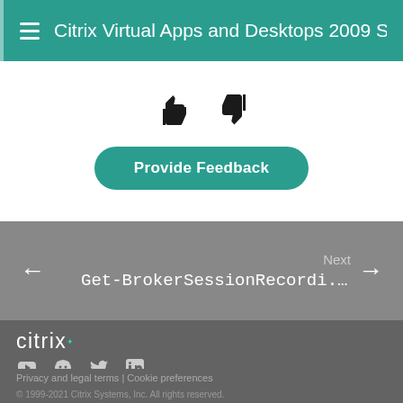Citrix Virtual Apps and Desktops 2009 SDK D
[Figure (other): Thumbs up and thumbs down feedback icons]
Provide Feedback
Next
Get-BrokerSessionRecordi...
[Figure (logo): Citrix logo in white text on dark grey background with social media icons: YouTube, GitHub, Twitter, LinkedIn]
Privacy and legal terms | Cookie preferences
© 1999-2021 Citrix Systems, Inc. All rights reserved.